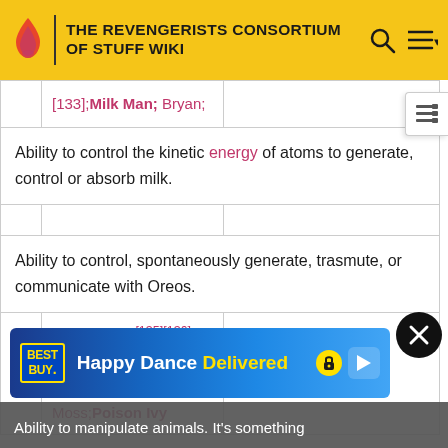THE REVENGERISTS CONSORTIUM OF STUFF WIKI
|  | [133];Milk Man; Bryan; |  |
| Ability to control the kinetic energy of atoms to generate, control or absorb milk. |  |  |
|  |  |  |
| Ability to control, spontaneously generate, trasmute, or communicate with Oreos. |  |  |
|  | Klara Prast;[135][136] Floronic Man;[137] Briar Moss;Poison Ivy |  |
Ability to manipulate animals. It's something
[Figure (screenshot): Best Buy advertisement banner: 'Happy Dance Delivered' with yellow lock icon]